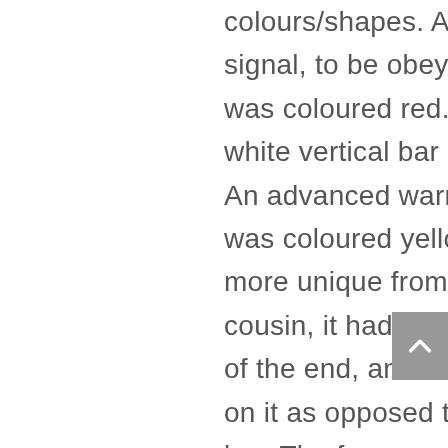colours/shapes. A ‘proper’ signal, to be obeyed at all costs, was coloured red. It also had a white vertical bar painted on it. An advanced warning signal, was coloured yellow. To make it more unique from its proper cousin, it had a ‘v’ shape cut out of the end, and a black v painted on it as opposed to the white bar. The former was known as a ‘home’ signal, the latter a ‘distant’. So you MUST obey a home signal, but a distant was merely letting you know in advance what the home signal was set to, just in case some judicious braking were